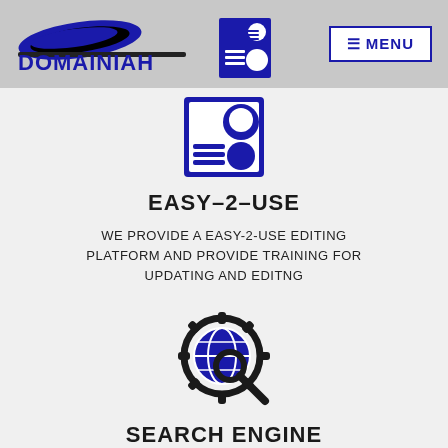Domainiah — MENU
[Figure (logo): Domainiah logo with blue oval shape above the word DOMAINIAH in blue, plus a blue square icon with document and person illustration]
EASY-2-USE
WE PROVIDE A EASY-2-USE EDITING PLATFORM AND PROVIDE TRAINING FOR UPDATING AND EDITNG
[Figure (illustration): Search engine icon with gear/cog, magnifying glass, and globe/map in blue and black]
SEARCH ENGINE